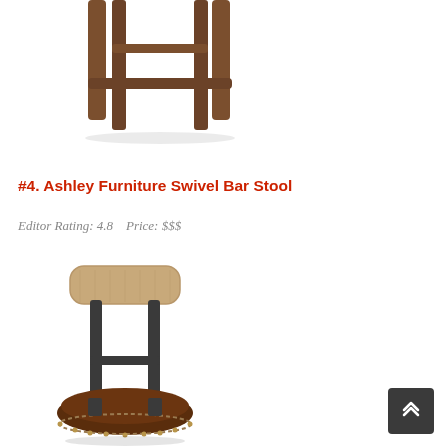[Figure (photo): Partial top view of a wooden bar stool with brown finish, showing legs and crossbar, cropped at top of page]
#4. Ashley Furniture Swivel Bar Stool
Editor Rating: 4.8    Price: $$$
[Figure (photo): Ashley Furniture Swivel Bar Stool with light wood back panel, dark metal frame, and round brown leather/upholstered seat with nail head trim]